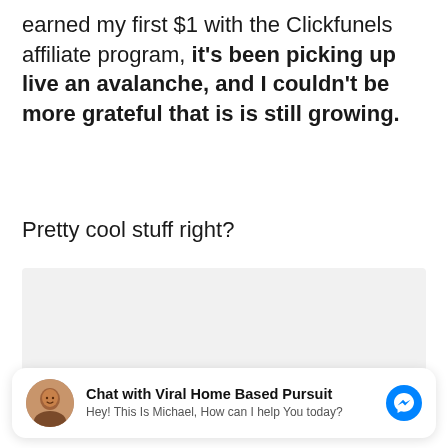earned my first $1 with the Clickfunels affiliate program, it's been picking up live an avalanche, and I couldn't be more grateful that is is still growing.
Pretty cool stuff right?
[Figure (screenshot): Grey placeholder box, likely an embedded video or image content area]
[Figure (screenshot): Chat widget: 'Chat with Viral Home Based Pursuit' with avatar photo of Michael and messenger icon. Subtitle: 'Hey! This Is Michael, How can I help You today?']